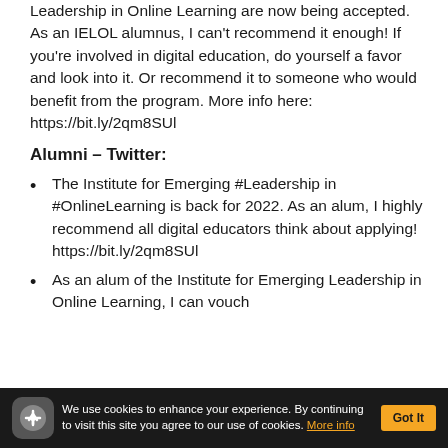Leadership in Online Learning are now being accepted. As an IELOL alumnus, I can’t recommend it enough! If you’re involved in digital education, do yourself a favor and look into it. Or recommend it to someone who would benefit from the program. More info here: https://bit.ly/2qm8SUl
Alumni – Twitter:
The Institute for Emerging #Leadership in #OnlineLearning is back for 2022. As an alum, I highly recommend all digital educators think about applying! https://bit.ly/2qm8SUl
As an alum of the Institute for Emerging Leadership in Online Learning, I can vouch
We use cookies to enhance your experience. By continuing to visit this site you agree to our use of cookies. More info  Got It